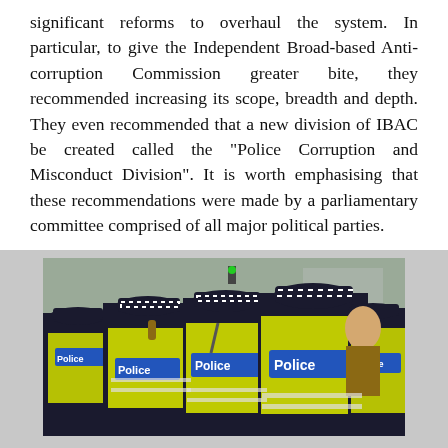significant reforms to overhaul the system. In particular, to give the Independent Broad-based Anti-corruption Commission greater bite, they recommended increasing its scope, breadth and depth. They even recommended that a new division of IBAC be created called the "Police Corruption and Misconduct Division". It is worth emphasising that these recommendations were made by a parliamentary committee comprised of all major political parties.
[Figure (photo): Photograph of multiple police officers seen from behind, wearing high-visibility yellow/green vests with 'Police' labels in blue, taken at what appears to be a street event.]